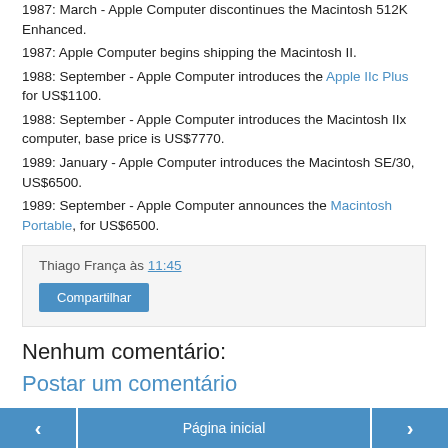1987: March - Apple Computer discontinues the Macintosh 512K Enhanced.
1987: Apple Computer begins shipping the Macintosh II.
1988: September - Apple Computer introduces the Apple IIc Plus for US$1100.
1988: September - Apple Computer introduces the Macintosh IIx computer, base price is US$7770.
1989: January - Apple Computer introduces the Macintosh SE/30, US$6500.
1989: September - Apple Computer announces the Macintosh Portable, for US$6500.
Thiago França às 11:45
Compartilhar
Nenhum comentário:
Postar um comentário
‹  Página inicial  ›